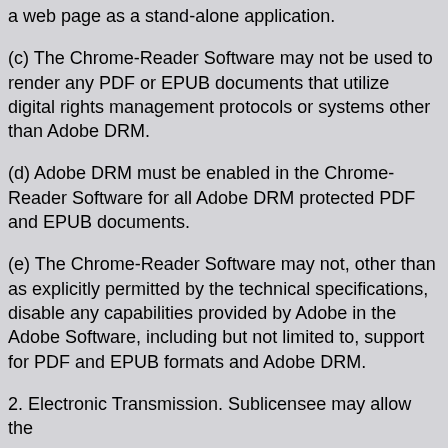a web page as a stand-alone application.
(c) The Chrome-Reader Software may not be used to render any PDF or EPUB documents that utilize digital rights management protocols or systems other than Adobe DRM.
(d) Adobe DRM must be enabled in the Chrome-Reader Software for all Adobe DRM protected PDF and EPUB documents.
(e) The Chrome-Reader Software may not, other than as explicitly permitted by the technical specifications, disable any capabilities provided by Adobe in the Adobe Software, including but not limited to, support for PDF and EPUB formats and Adobe DRM.
2. Electronic Transmission. Sublicensee may allow the